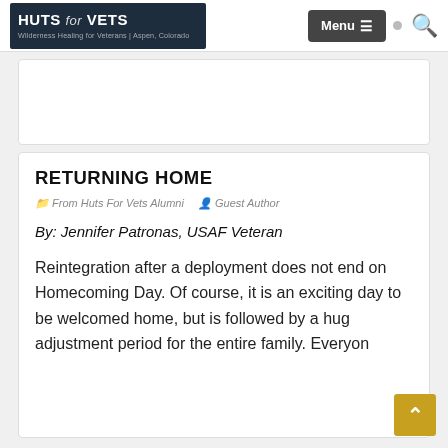HUTS for VETS — Wilderness Healing for Veterans | Aspen, Colorado — Menu ☰ 🔍
[Figure (other): Advertisement/banner area (white box with border)]
RETURNING HOME
From Huts For Vets Alumni   Guest Author
By: Jennifer Patronas, USAF Veteran
Reintegration after a deployment does not end on Homecoming Day. Of course, it is an exciting day to be welcomed home, but is followed by a huge adjustment period for the entire family. Everyone